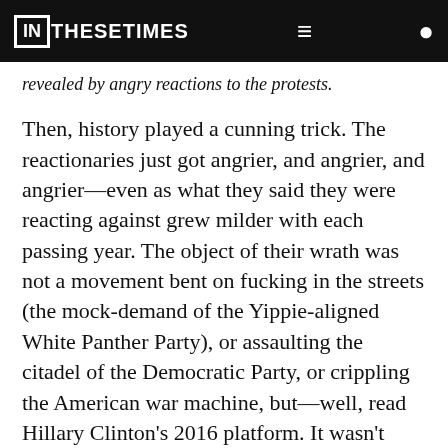IN THESE TIMES
revealed by angry reactions to the protests.
Then, history played a cunning trick. The reactionaries just got angrier, and angrier, and angrier—even as what they said they were reacting against grew milder with each passing year. The object of their wrath was not a movement bent on fucking in the streets (the mock-demand of the Yippie-aligned White Panther Party), or assaulting the citadel of the Democratic Party, or crippling the American war machine, but—well, read Hillary Clinton's 2016 platform. It wasn't bad, but it certainly wasn't revolutionary. Only, that is, if you don't watch Fox News, where milquetoast Democrats come off worse than Pol Pot.